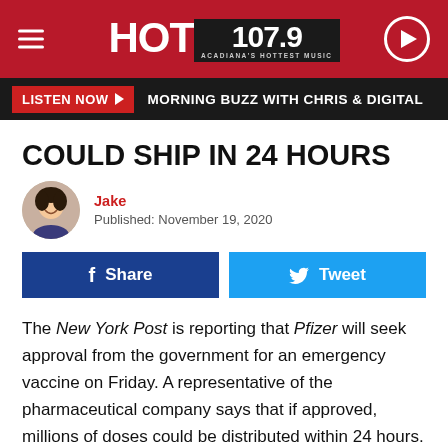HOT 107.9 — ACADIANA'S HOTTEST MUSIC
LISTEN NOW | MORNING BUZZ WITH CHRIS & DIGITAL
COULD SHIP IN 24 HOURS
Jake
Published: November 19, 2020
Share | Tweet
The New York Post is reporting that Pfizer will seek approval from the government for an emergency vaccine on Friday. A representative of the pharmaceutical company says that if approved, millions of doses could be distributed within 24 hours.
You can see the Twitter post from @nypost along with the